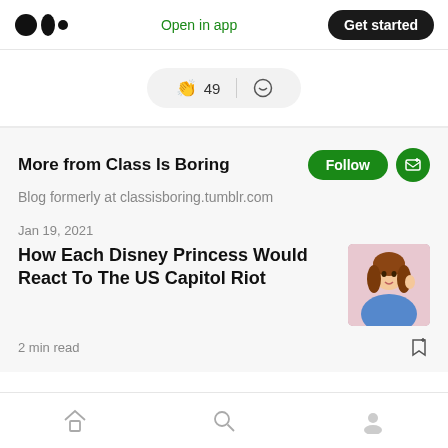Medium logo | Open in app | Get started
[Figure (infographic): Clap reaction button showing 49 claps and a comment icon in a pill-shaped container]
More from Class Is Boring
Blog formerly at classisboring.tumblr.com
Jan 19, 2021
How Each Disney Princess Would React To The US Capitol Riot
2 min read
Home | Search | Profile navigation icons